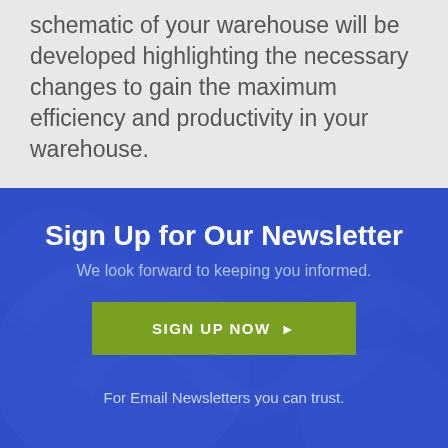schematic of your warehouse will be developed highlighting the necessary changes to gain the maximum efficiency and productivity in your warehouse.
Sign Up for Our Newsletter
We look forward to keeping you informed.
SIGN UP NOW ▶
For Email Newsletters you can trust.